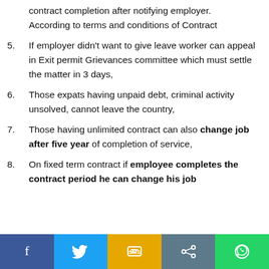contract completion after notifying employer. According to terms and conditions of Contract
5. If employer didn't want to give leave worker can appeal in Exit permit Grievances committee which must settle the matter in 3 days,
6. Those expats having unpaid debt, criminal activity unsolved, cannot leave the country,
7. Those having unlimited contract can also change job after five year of completion of service,
8. On fixed term contract if employee completes the contract period he can change his job